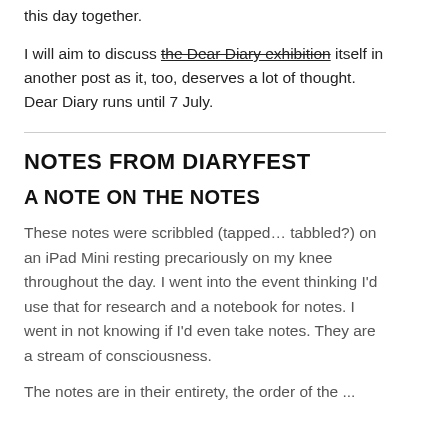this day together.
I will aim to discuss the Dear Diary exhibition itself in another post as it, too, deserves a lot of thought. Dear Diary runs until 7 July.
NOTES FROM DIARYFEST
A NOTE ON THE NOTES
These notes were scribbled (tapped… tabbled?) on an iPad Mini resting precariously on my knee throughout the day. I went into the event thinking I'd use that for research and a notebook for notes. I went in not knowing if I'd even take notes. They are a stream of consciousness.
The notes are in their entirety, the order of the ...